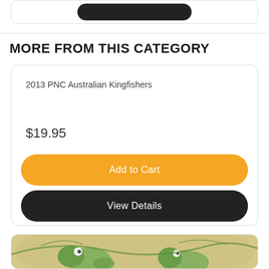MORE FROM THIS CATEGORY
2013 PNC Australian Kingfishers
$19.95
Add to Cart
View Details
[Figure (photo): Partial view of a second product card with a tan/green illustrated image at the bottom edge]